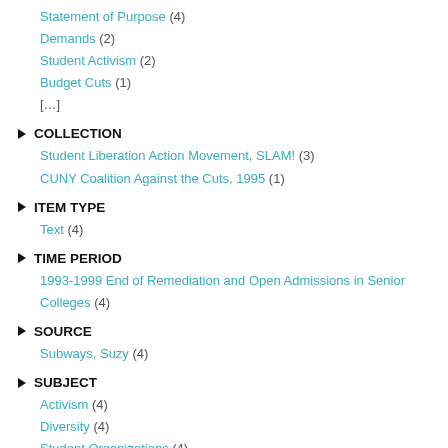Statement of Purpose (4)
Demands (2)
Student Activism (2)
Budget Cuts (1)
[…]
COLLECTION
Student Liberation Action Movement, SLAM! (3)
CUNY Coalition Against the Cuts, 1995 (1)
ITEM TYPE
Text (4)
TIME PERIOD
1993-1999 End of Remediation and Open Admissions in Senior Colleges (4)
SOURCE
Subways, Suzy (4)
SUBJECT
Activism (4)
Diversity (4)
Student Organizations (4)
Relationships with Communities (3)
[…]